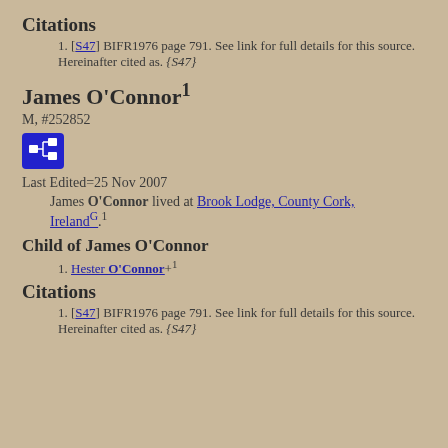Citations
[S47] BIFR1976 page 791. See link for full details for this source. Hereinafter cited as. {S47}
James O'Connor¹
M, #252852
[Figure (other): Blue icon button with family tree/network symbol]
Last Edited=25 Nov 2007
James O'Connor lived at Brook Lodge, County Cork, IrelandG.1
Child of James O'Connor
Hester O'Connor+¹
Citations
[S47] BIFR1976 page 791. See link for full details for this source. Hereinafter cited as. {S47}